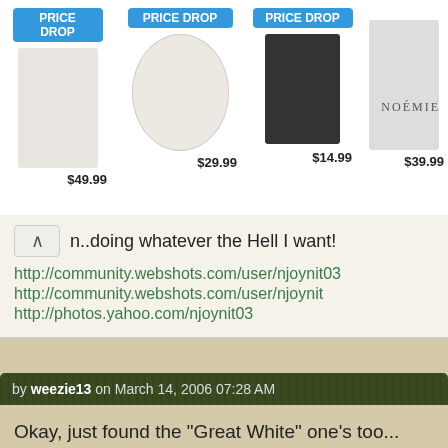[Figure (screenshot): Advertisement banner showing handbag products with PRICE DROP labels. Items: $49.99, $29.99, $14.99, $39.99. Brand: NOÉMIE.]
n..doing whatever the Hell I want!
http://community.webshots.com/user/njoynit03
http://community.webshots.com/user/njoynit
http://photos.yahoo.com/njoynit03
by weezie13 on March 14, 2006 07:28 AM
Okay, just found the "Great White" one's too...
There's like 6 or 8 of those...

I think I used up the red one's, but will keep looking..

Yes, I was hoping Julianna could identify some of them for us too..